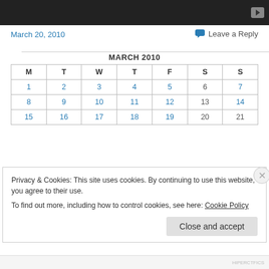[Figure (screenshot): Dark video player bar with play button icon in top right]
March 20, 2010
Leave a Reply
| M | T | W | T | F | S | S |
| --- | --- | --- | --- | --- | --- | --- |
| 1 | 2 | 3 | 4 | 5 | 6 | 7 |
| 8 | 9 | 10 | 11 | 12 | 13 | 14 |
| 15 | 16 | 17 | 18 | 19 | 20 | 21 |
Privacy & Cookies: This site uses cookies. By continuing to use this website, you agree to their use.
To find out more, including how to control cookies, see here: Cookie Policy